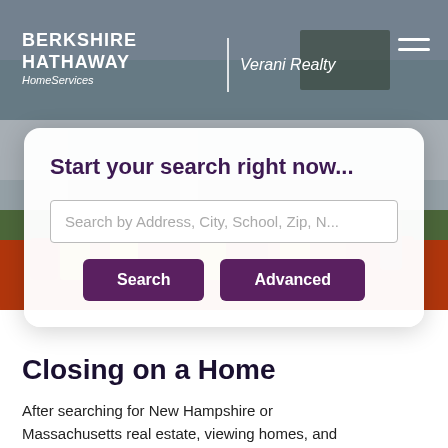[Figure (screenshot): Hero background image showing a house with gray/blue siding and roof, with colorful tulips (red, yellow, orange) in the foreground. Berkshire Hathaway HomeServices | Verani Realty logo in top left, hamburger menu icon top right.]
Start your search right now...
Search by Address, City, School, Zip, N...
Search
Advanced
Closing on a Home
After searching for New Hampshire or Massachusetts real estate, viewing homes, and